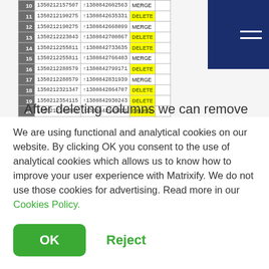[Figure (screenshot): Partial spreadsheet screenshot showing rows 10-22 with columns containing numeric IDs and MERGE/DELETE action labels. DELETE rows highlighted in yellow. Navy blue hamburger menu icon in top right corner.]
After deleting columns we can remove
We are using functional and analytical cookies on our website. By clicking OK you consent to the use of analytical cookies which allows us to know how to improve your user experience with Matrixify. We do not use those cookies for advertising. Read more in our Cookies Policy.